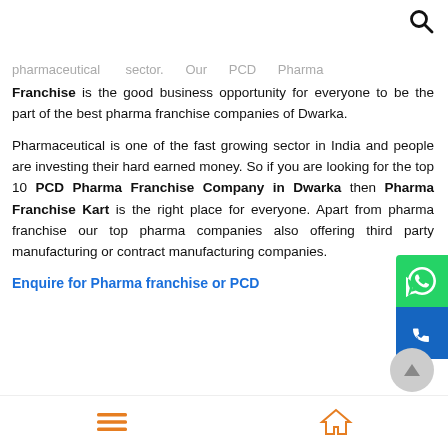🔍
pharmaceutical sector. Our PCD Pharma Franchise is the good business opportunity for everyone to be the part of the best pharma franchise companies of Dwarka.
Pharmaceutical is one of the fast growing sector in India and people are investing their hard earned money. So if you are looking for the top 10 PCD Pharma Franchise Company in Dwarka then Pharma Franchise Kart is the right place for everyone. Apart from pharma franchise our top pharma companies also offering third party manufacturing or contract manufacturing companies.
Enquire for Pharma franchise or PCD